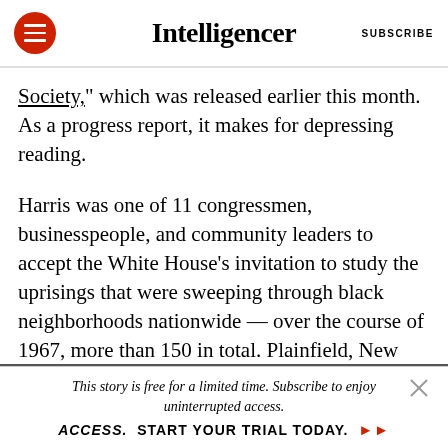Intelligencer | SUBSCRIBE
Society,” which was released earlier this month. As a progress report, it makes for depressing reading.
Harris was one of 11 congressmen, businesspeople, and community leaders to accept the White House’s invitation to study the uprisings that were sweeping through black neighborhoods nationwide — over the course of 1967, more than 150 in total. Plainfield, New Jersey. Minneapolis. Milwaukee: As the list of cities grew, so did the casualties. Sixty-nine people were killed in Detroit and Newark
This story is free for a limited time. Subscribe to enjoy uninterrupted access. START YOUR TRIAL TODAY.